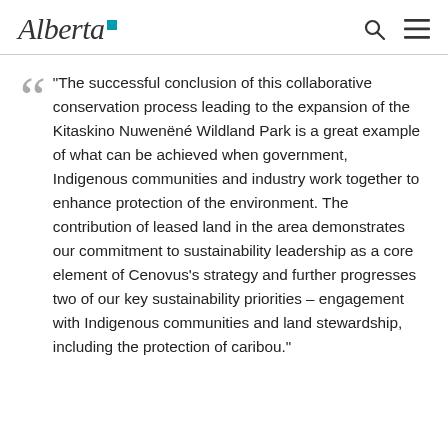Alberta [logo]
"The successful conclusion of this collaborative conservation process leading to the expansion of the Kitaskino Nuwenëné Wildland Park is a great example of what can be achieved when government, Indigenous communities and industry work together to enhance protection of the environment. The contribution of leased land in the area demonstrates our commitment to sustainability leadership as a core element of Cenovus's strategy and further progresses two of our key sustainability priorities – engagement with Indigenous communities and land stewardship, including the protection of caribou."